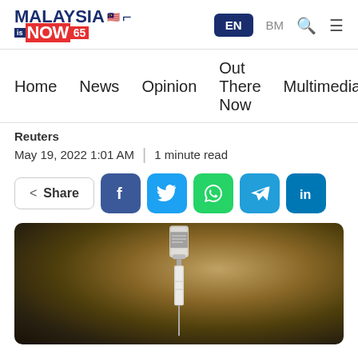MalaysiaIsNow65 — EN BM
Home  News  Opinion  Out There Now  Multimedia
Reuters
May 19, 2022 1:01 AM  |  1 minute read
Share [Facebook, Twitter, WhatsApp, Telegram, LinkedIn]
[Figure (photo): A vaccine vial with a syringe inserted, standing upright against a blurred warm brown background.]